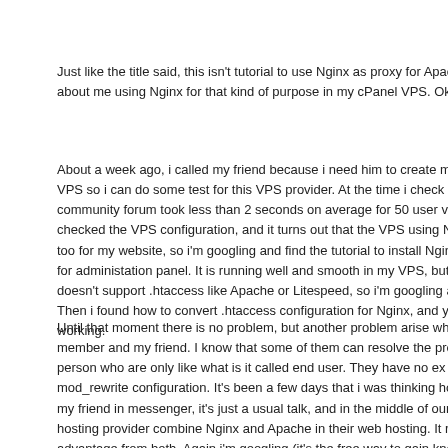Just like the title said, this isn't tutorial to use Nginx as proxy for Apache w about me using Nginx for that kind of purpose in my cPanel VPS. Okay so
About a week ago, i called my friend because i need him to create me a VPS so i can do some test for this VPS provider. At the time i check community forum took less than 2 seconds on average for 50 user visit s checked the VPS configuration, and it turns out that the VPS using Ngin too for my website, so i'm googling and find the tutorial to install Nginx. I v for administation panel. It is running well and smooth in my VPS, but t doesn't support .htaccess like Apache or Litespeed, so i'm googling agai Then i found how to convert .htaccess configuration for Nginx, and yes my working.
Until that moment there is no problem, but another problem arise when i member and my friend. I know that some of them can resolve the probl person who are only like what is it called end user. They have no ex mod_rewrite configuration. It's been a few days that i was thinking how to my friend in messenger, it's just a usual talk, and in the middle of our chat hosting provider combine Nginx and Apache in their web hosting. It runs b advantage from both. Again i'm googling (it's the free way to gain knowle